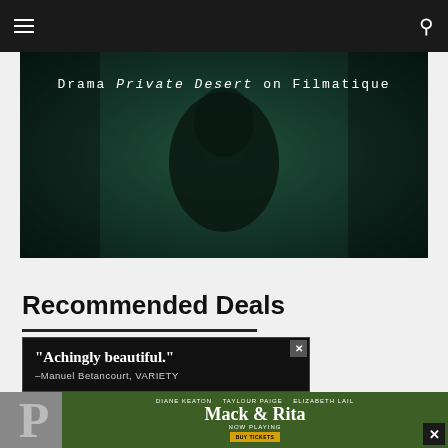Navigation header with menu and search icons
[Figure (photo): Dark cinematic still from film 'Private Desert' showing a person's back in a dark teal/green-tinted scene]
Drama Private Desert on Filmatique
Recommended Deals
[Figure (photo): Advertisement with quote 'Achingly beautiful.' attributed to Manuel Betancourt, VARIETY with close button]
[Figure (photo): Bottom advertisement for Mack & Rita movie with actors Diane Keaton, Taylour Paige, Elizabeth Lail, now playing, buy tickets button. Large P logo on left side.]